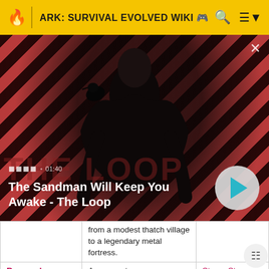ARK: SURVIVAL EVOLVED WIKI
[Figure (screenshot): Video thumbnail for 'The Sandman Will Keep You Awake - The Loop' featuring a dark-cloaked figure with a raven on shoulder against a red and black diagonal striped background. Duration shown as 01:40.]
|  | Description | Link |
| --- | --- | --- |
|  | from a modest thatch village to a legendary metal fortress. |  |
| Ragnarok | A new custom map currently being developed for ARK: | Steam Store |